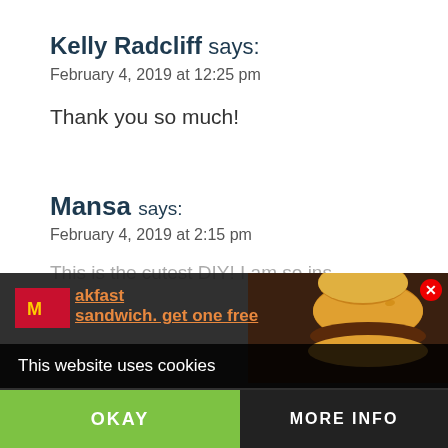Kelly Radcliff says:
February 4, 2019 at 12:25 pm
Thank you so much!
Mansa says:
February 4, 2019 at 2:15 pm
This is the cutest DIY! I am so ins... this
This website uses cookies
akfast sandwich. get one free
OKAY
MORE INFO